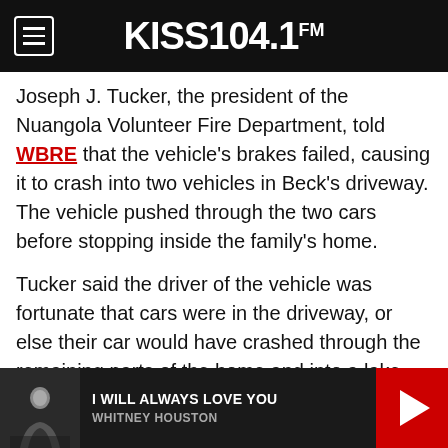KISS 104.1 FM
Joseph J. Tucker, the president of the Nuangola Volunteer Fire Department, told WBRE that the vehicle's brakes failed, causing it to crash into two vehicles in Beck's driveway. The vehicle pushed through the two cars before stopping inside the family's home.
Tucker said the driver of the vehicle was fortunate that cars were in the driveway, or else their car would have crashed through the remaining parts of the home and into a lake.
The Nuangola Volunteer Fire Department wrote on Facebook that Beck and his wife had to be removed from the second floor of their home by a ladder
[Figure (other): Media player bar at bottom: thumbnail of Whitney Houston, song title 'I WILL ALWAYS LOVE YOU', artist 'WHITNEY HOUSTON', red play button on right]